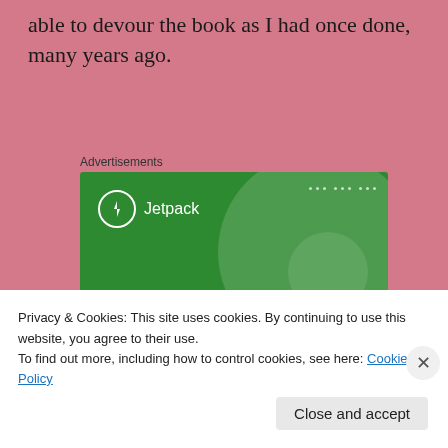able to devour the book as I had once done, many years ago.
Advertisements
[Figure (illustration): Jetpack advertisement: green background with decorative circles and white text reading 'The best real-time WordPress backup plugin'. Jetpack logo (lightning bolt in circle) and name at top left.]
Privacy & Cookies: This site uses cookies. By continuing to use this website, you agree to their use.
To find out more, including how to control cookies, see here: Cookie Policy
Close and accept